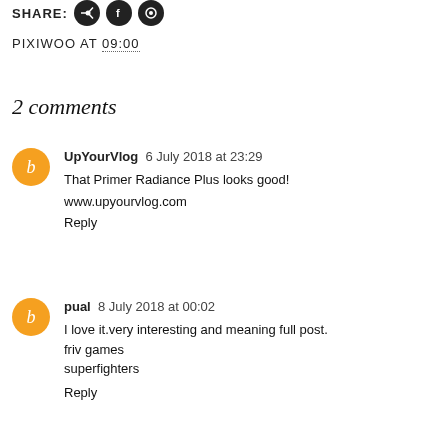SHARE:
PIXIWOO AT 09:00
2 comments
UpYourVlog 6 July 2018 at 23:29
That Primer Radiance Plus looks good!

www.upyourvlog.com

Reply
pual 8 July 2018 at 00:02
I love it.very interesting and meaning full post.
friv games
superfighters

Reply